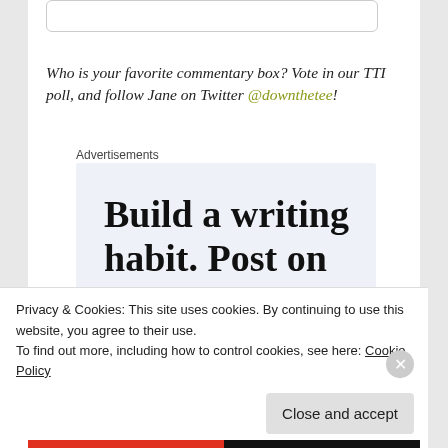Who is your favorite commentary box? Vote in our TTI poll, and follow Jane on Twitter @downthetee!
Advertisements
[Figure (other): Advertisement box with light blue background showing text 'Build a writing habit. Post on']
Privacy & Cookies: This site uses cookies. By continuing to use this website, you agree to their use.
To find out more, including how to control cookies, see here: Cookie Policy